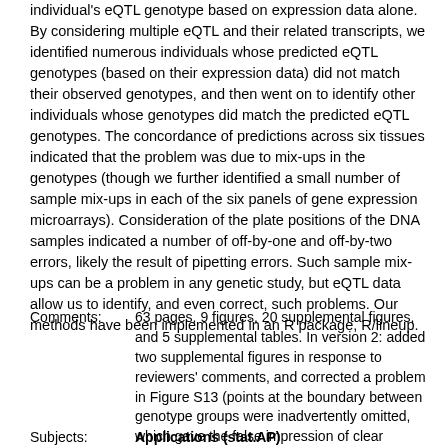individual's eQTL genotype based on expression data alone. By considering multiple eQTL and their related transcripts, we identified numerous individuals whose predicted eQTL genotypes (based on their expression data) did not match their observed genotypes, and then went on to identify other individuals whose genotypes did match the predicted eQTL genotypes. The concordance of predictions across six tissues indicated that the problem was due to mix-ups in the genotypes (though we further identified a small number of sample mix-ups in each of the six panels of gene expression microarrays). Consideration of the plate positions of the DNA samples indicated a number of off-by-one and off-by-two errors, likely the result of pipetting errors. Such sample mix-ups can be a problem in any genetic study, but eQTL data allow us to identify, and even correct, such problems. Our methods have been implemented in an R package, R/lineup.
Comments: 63 pages, 9 figures, 20 supplemental figures, and 5 supplemental tables. In version 2: added two supplemental figures in response to reviewers' comments, and corrected a problem in Figure S13 (points at the boundary between genotype groups were inadvertently omitted, which gave the false impression of clear separation between the groups). In version 3: fixed a few typos
Subjects: Applications (stat.AP)